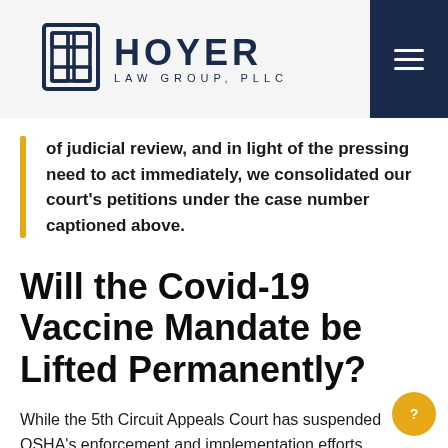Hoyer Law Group, PLLC
of judicial review, and in light of the pressing need to act immediately, we consolidated our court's petitions under the case number captioned above.
Will the Covid-19 Vaccine Mandate be Lifted Permanently?
While the 5th Circuit Appeals Court has suspended OSHA's enforcement and implementation efforts concerning the ETS due to possible statutory and